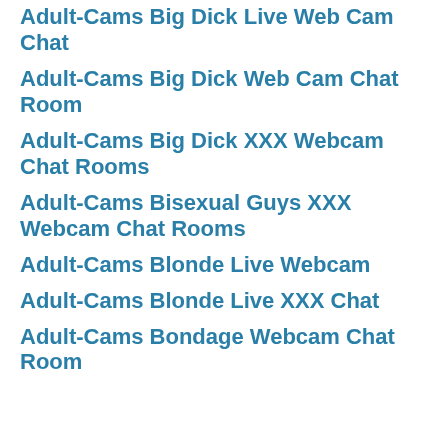Adult-Cams Big Dick Live Web Cam Chat
Adult-Cams Big Dick Web Cam Chat Room
Adult-Cams Big Dick XXX Webcam Chat Rooms
Adult-Cams Bisexual Guys XXX Webcam Chat Rooms
Adult-Cams Blonde Live Webcam
Adult-Cams Blonde Live XXX Chat
Adult-Cams Bondage Webcam Chat Room